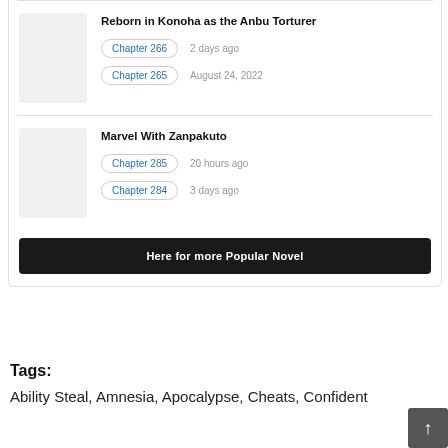Reborn in Konoha as the Anbu Torturer
Chapter 266 — 2 days ago
Chapter 265 — August 24, 2022
Marvel With Zanpakuto
Chapter 285 — 20 hours ago
Chapter 284 — 3 days ago
Here for more Popular Novel
Tags:
Ability Steal, Amnesia, Apocalypse, Cheats, Confident